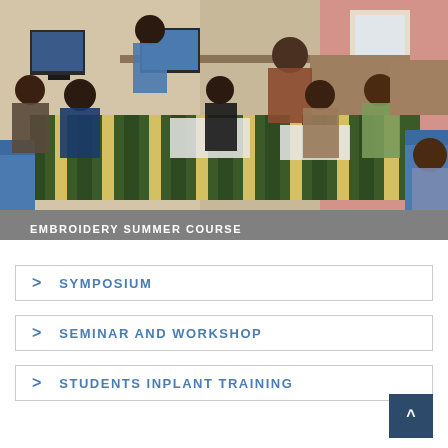[Figure (photo): Group of people sitting around a table with a striped green, yellow and black tablecloth, doing an embroidery activity in a classroom setting. A woman stands at the head of the table instructing. Computers visible in the background.]
EMBROIDERY SUMMER COURSE
> SYMPOSIUM
> SEMINAR AND WORKSHOP
> STUDENTS INPLANT TRAINING